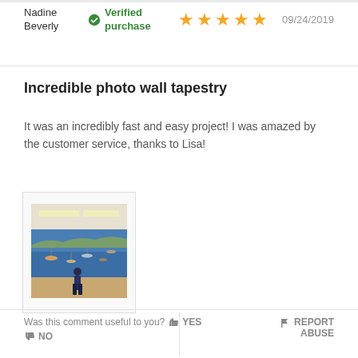Nadine Beverly
Verified purchase
09/24/2019
Incredible photo wall tapestry
It was an incredibly fast and easy project! I was amazed by the customer service, thanks to Lisa!
[Figure (photo): Photo of a large wall mural in an office/room showing a scenic harbor with boats and water, with a person standing in front of it.]
Was this comment useful to you? YES
NO
REPORT ABUSE